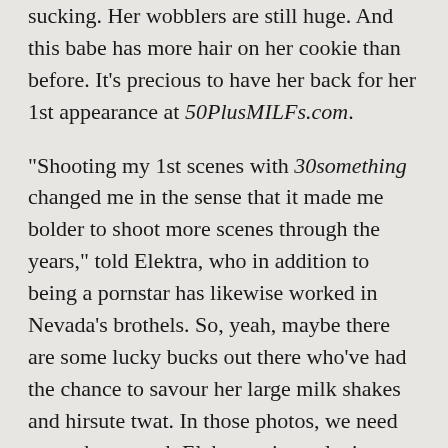sucking. Her wobblers are still huge. And this babe has more hair on her cookie than before. It's precious to have her back for her 1st appearance at 50PlusMILFs.com.
“Shooting my 1st scenes with 30something changed me in the sense that it made me bolder to shoot more scenes through the years,” told Elektra, who in addition to being a pornstar has likewise worked in Nevada’s brothels. So, yeah, maybe there are some lucky bucks out there who’ve had the chance to savour her large milk shakes and hirsute twat. In those photos, we need to see how much Elektra enjoys playing with her vagina hair whilst she’s engulfing cock and getting rogered. She’s getting screwed by a 22-year-old.
Elektra has children and grandchildren. She is had sex with, among others, Ron Jeremy and Nina Hartley. She